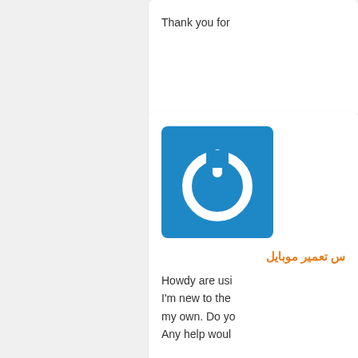Thank you for
[Figure (logo): Blue square with white power button icon]
س تعمیر موبایل
Howdy are usi I'm new to the my own. Do yo Any help woul
[Figure (logo): Blue square with white power button icon]
رات کولر گازی
I got this site